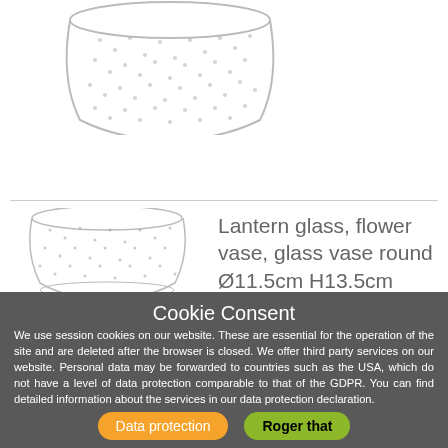[Figure (photo): Top portion of a clear glass lantern/flower vase with dotted texture pattern, cropped at top]
[Figure (photo): Clear glass lantern/flower vase with dotted texture pattern, round shape]
Lantern glass, flower vase, glass vase round Ø11.5cm H13.5cm
Cookie Consent
We use session cookies on our website. These are essential for the operation of the site and are deleted after the browser is closed. We offer third party services on our website. Personal data may be forwarded to countries such as the USA, which do not have a level of data protection comparable to that of the GDPR. You can find detailed information about the services in our data protection declaration.
Data protection
Roger that